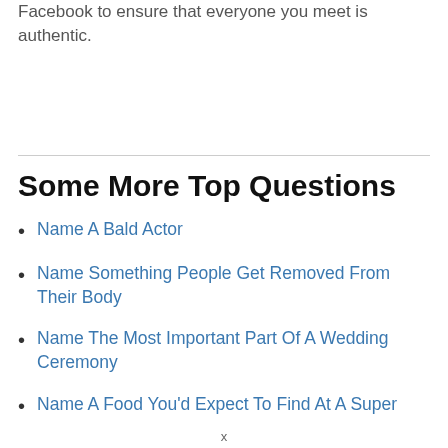Facebook to ensure that everyone you meet is authentic.
Some More Top Questions
Name A Bald Actor
Name Something People Get Removed From Their Body
Name The Most Important Part Of A Wedding Ceremony
Name A Food You'd Expect To Find At A Super
x